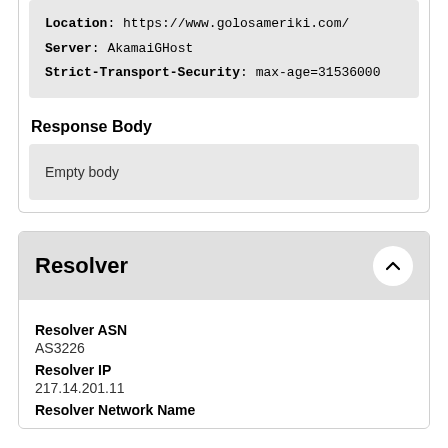Location: https://www.golosameriki.com/
Server: AkamaiGHost
Strict-Transport-Security: max-age=31536000
Response Body
Empty body
Resolver
Resolver ASN
AS3226
Resolver IP
217.14.201.11
Resolver Network Name